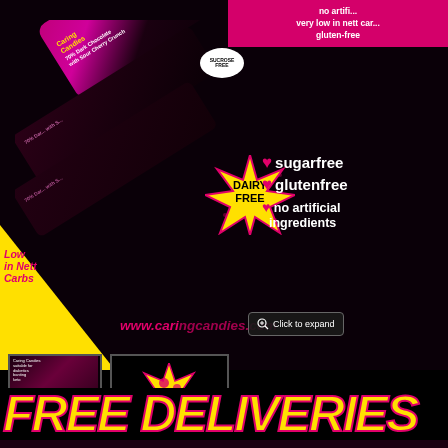[Figure (photo): Caring Candies 70% Dark Chocolate with Sour Cherry Crunch product bars on black background]
no artificial
very low in nett carbs
gluten-free
SUCROSE FREE
DAIRY FREE
Low in Nett Carbs
sugarfree
glutenfree
no artificial ingredients
www.caringcandies.com
Click to expand
[Figure (photo): Thumbnail 1: Caring Candies product packaging thumbnail]
[Figure (photo): Thumbnail 2: Caring Candies starburst/badge graphic with APPLY WHOLE STOCK LISTS text]
FREE DELIVERIES
WI
SO
AF